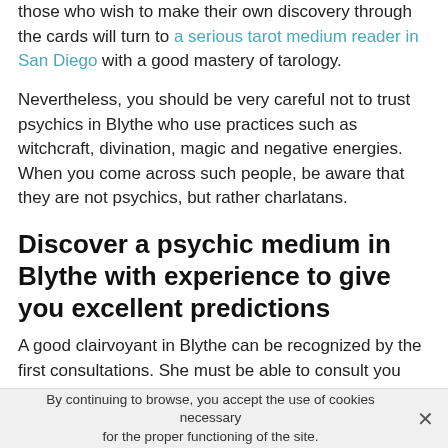those who wish to make their own discovery through the cards will turn to a serious tarot medium reader in San Diego with a good mastery of tarology.
Nevertheless, you should be very careful not to trust psychics in Blythe who use practices such as witchcraft, divination, magic and negative energies. When you come across such people, be aware that they are not psychics, but rather charlatans.
Discover a psychic medium in Blythe with experience to give you excellent predictions
A good clairvoyant in Blythe can be recognized by the first consultations. She must be able to consult you without you being able to say a word about yourself. This is the only
By continuing to browse, you accept the use of cookies necessary for the proper functioning of the site.